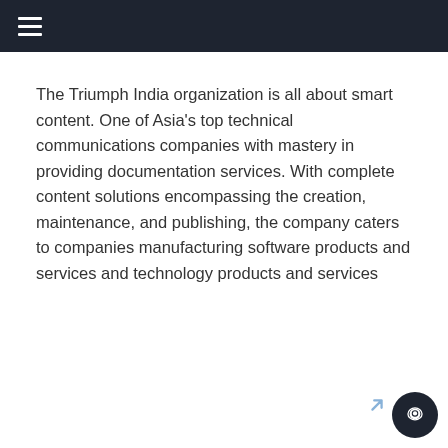≡
The Triumph India organization is all about smart content. One of Asia's top technical communications companies with mastery in providing documentation services. With complete content solutions encompassing the creation, maintenance, and publishing, the company caters to companies manufacturing software products and services and technology products and services